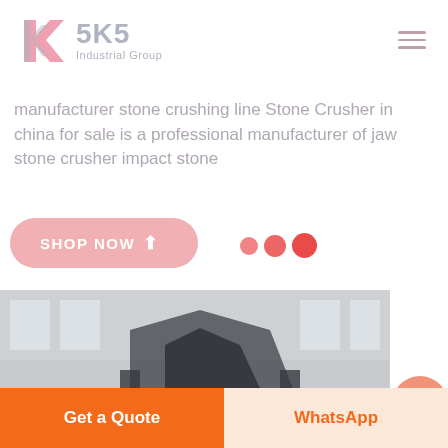[Figure (logo): SKS Industrial Group logo with a stylized K in red and grey, followed by 'SKS' in grey text and 'Industrial Group' beneath]
[Figure (screenshot): Hamburger menu icon (three horizontal lines) in muted pink/rose color on the top right]
manufacturer stone crushing line Stone Crusher in china for sale is a professional manufacturer of jaw stone crusher impact stone
[Figure (illustration): Pink/rose rounded rectangle SHOP NOW button with arrow, followed by three red dots of increasing size (slider pagination dots)]
[Figure (photo): Factory interior showing a large industrial stone crushing machine, grey-toned photograph]
Get a Quote
WhatsApp